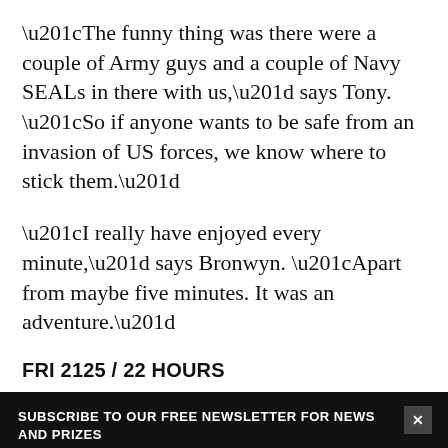“The funny thing was there were a couple of Army guys and a couple of Navy SEALs in there with us,” says Tony. “So if anyone wants to be safe from an invasion of US forces, we know where to stick them.”
“I really have enjoyed every minute,” says Bronwyn. “Apart from maybe five minutes. It was an adventure.”
FRI 2125 / 22 HOURS
SUBSCRIBE TO OUR FREE NEWSLETTER FOR NEWS AND PRIZES
Email
SUBMIT
3 FREE ARTICLES LEFT
Subscribe for $1